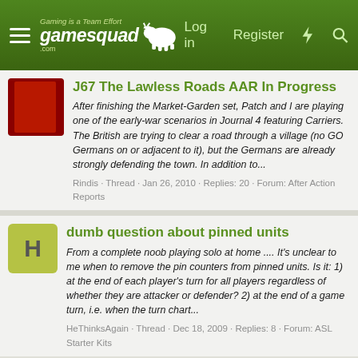gamesquad.com — Log in  Register
J67 The Lawless Roads AAR In Progress
After finishing the Market-Garden set, Patch and I are playing one of the early-war scenarios in Journal 4 featuring Carriers. The British are trying to clear a road through a village (no GO Germans on or adjacent to it), but the Germans are already strongly defending the town. In addition to...
Rindis · Thread · Jan 26, 2010 · Replies: 20 · Forum: After Action Reports
dumb question about pinned units
From a complete noob playing solo at home .... It's unclear to me when to remove the pin counters from pinned units. Is it: 1) at the end of each player's turn for all players regardless of whether they are attacker or defender? 2) at the end of a game turn, i.e. when the turn chart...
HeThinksAgain · Thread · Dec 18, 2009 · Replies: 8 · Forum: ASL Starter Kits